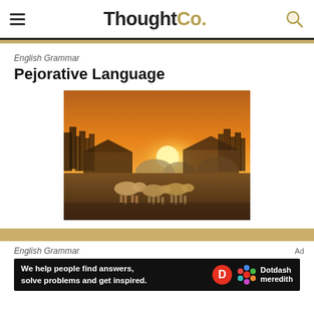ThoughtCo.
English Grammar
Pejorative Language
[Figure (photo): Farm scene at sunset with cattle/pigs grazing in a field, barns and curved metal structures in the background, warm golden light.]
English Grammar
Ad
We help people find answers, solve problems and get inspired.